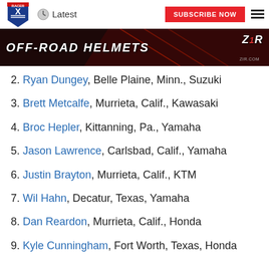Latest | SUBSCRIBE NOW
[Figure (screenshot): OFF-ROAD HELMETS advertisement banner with Z1R logo and helmet images on dark red background]
2. Ryan Dungey, Belle Plaine, Minn., Suzuki
3. Brett Metcalfe, Murrieta, Calif., Kawasaki
4. Broc Hepler, Kittanning, Pa., Yamaha
5. Jason Lawrence, Carlsbad, Calif., Yamaha
6. Justin Brayton, Murrieta, Calif., KTM
7. Wil Hahn, Decatur, Texas, Yamaha
8. Dan Reardon, Murrieta, Calif., Honda
9. Kyle Cunningham, Fort Worth, Texas, Honda